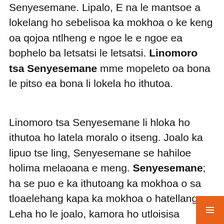Senyesemane. Lipalo, E na le mantsoe a lokelang ho sebelisoa ka mokhoa o ke keng oa qojoa ntlheng e ngoe le e ngoe ea bophelo ba letsatsi le letsatsi. Linomoro tsa Senyesemane mme mopeleto oa bona le pitso ea bona li lokela ho ithutoa.
Linomoro tsa Senyesemane li hloka ho ithutoa ho latela moralo o itseng. Joalo ka lipuo tse ling, Senyesemane se hahiloe holima melaoana e meng. Senyesemane; ha se puo e ka ithutoang ka mokhoa o sa tloaelehang kapa ka mokhoa o hatellang. Leha ho le joalo, kamora ho utloisisa metheo ea mantlha ea ho bua le ho ngola ka Senyesemane, ho tla ba bonolo haholo ho ithuta se setseng ho eona. Linomoro tsa ho ithuta ka Senyesemane E ba...